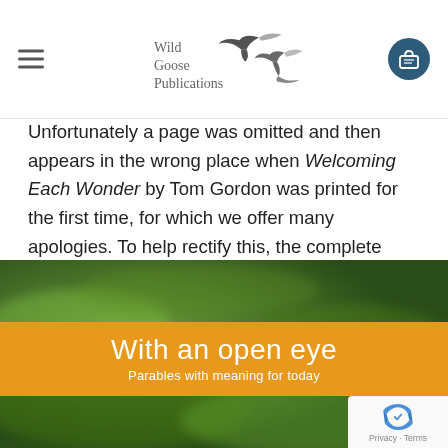Wild Goose Publications
Unfortunately a page was omitted and then appears in the wrong place when Welcoming Each Wonder by Tom Gordon was printed for the first time, for which we offer many apologies. To help rectify this, the complete chapter is available as a free download. Just put it in your basket and check out as usual. You will not be charged. The problem was corrected for later print runs, so this corrected chapter should not be necessary if you have only just purchased the book.
[Figure (photo): Book banner image for 'With an open eye – Parables with meaning for today' with blurred green leaf background and orange stripe overlay showing book title and subtitle]